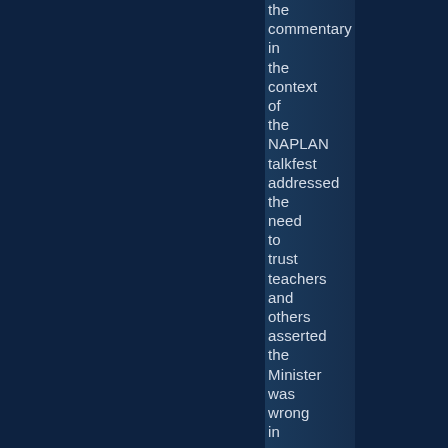the commentary in the context of the NAPLAN talkfest addressed the need to trust teachers and others asserted the Minister was wrong in